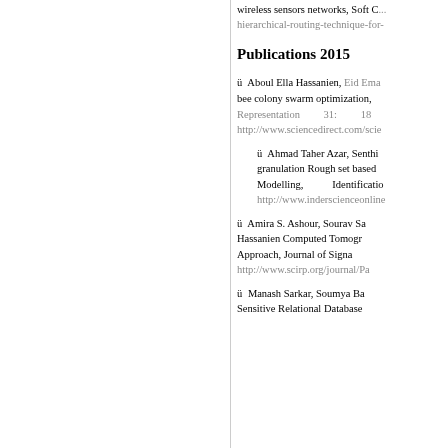wireless sensors networks, Soft Computing, hierarchical-routing-technique-for-
Publications 2015
Aboul Ella Hassanien, Eid Ema... bee colony swarm optimization, ... Representation 31: 18... http://www.sciencedirect.com/scie...
Ahmad Taher Azar, Senthi... granulation Rough set based ... Modelling, Identificatio... http://www.inderscienceonline...
Amira S. Ashour, Sourav Sa... Hassanien Computed Tomogr... Approach, Journal of Signa... http://www.scirp.org/journal/Pa...
Manash Sarkar, Soumya Ba... Sensitive Relational Database...